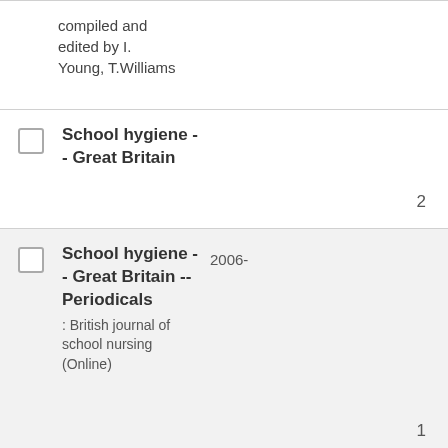compiled and edited by I. Young, T.Williams
School hygiene -- Great Britain  2
School hygiene -- Great Britain -- Periodicals  2006-  1  : British journal of school nursing (Online)
School hygiene -- Handbooks, manuals, etc.  2